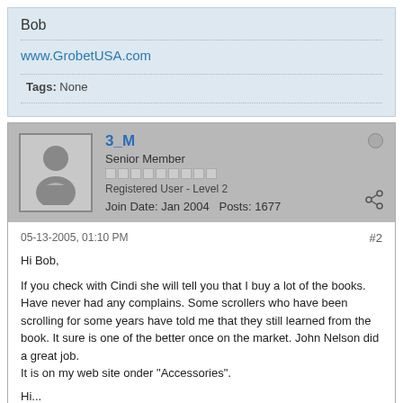Bob
www.GrobetUSA.com
Tags: None
3_M
Senior Member
Registered User - Level 2
Join Date: Jan 2004   Posts: 1677
05-13-2005, 01:10 PM
#2
Hi Bob,

If you check with Cindi she will tell you that I buy a lot of the books. Have never had any complains. Some scrollers who have been scrolling for some years have told me that they still learned from the book. It sure is one of the better once on the market. John Nelson did a great job.
It is on my web site onder "Accessories".

Hi...